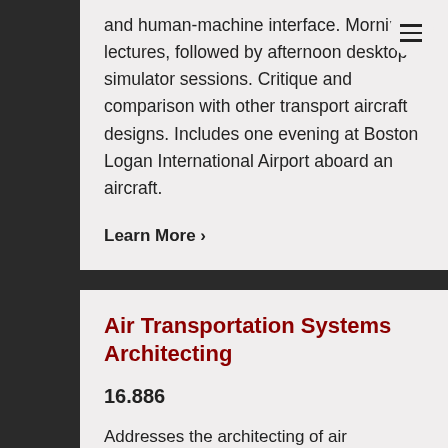and human-machine interface. Morning lectures, followed by afternoon desktop simulator sessions. Critique and comparison with other transport aircraft designs. Includes one evening at Boston Logan International Airport aboard an aircraft.
Learn More ›
Air Transportation Systems Architecting
16.886
Addresses the architecting of air transportation systems. Focuses on